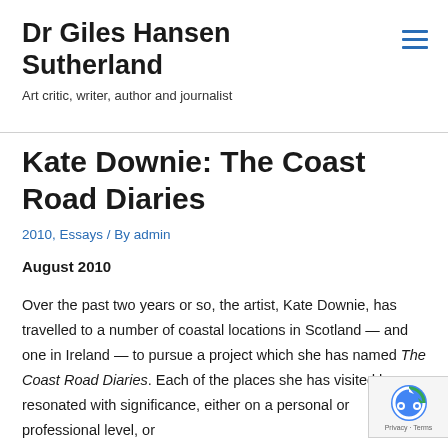Dr Giles Hansen Sutherland
Art critic, writer, author and journalist
Kate Downie: The Coast Road Diaries
2010, Essays / By admin
August 2010
Over the past two years or so, the artist, Kate Downie, has travelled to a number of coastal locations in Scotland — and one in Ireland — to pursue a project which she has named The Coast Road Diaries. Each of the places she has visited has resonated with significance, either on a personal or professional level, or